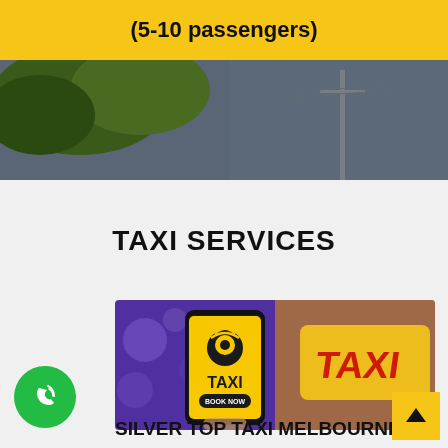(5-10 passengers)
[Figure (photo): Outdoor photo showing trees and sky with utility poles in background]
TAXI SERVICES
[Figure (photo): Taxi booking app shown on smartphone screen with a yellow taxi cab sign in the background. App shows TAXI with BOOK NOW button and location pin icon.]
SILVER TOP TAXI MELBOURNE